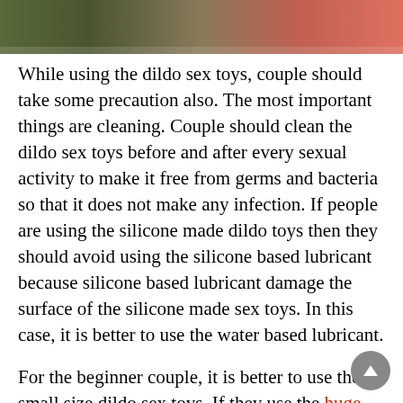[Figure (photo): Partial photo strip at top of page showing reddish and muted green/brown colors, cropped figure]
While using the dildo sex toys, couple should take some precaution also. The most important things are cleaning. Couple should clean the dildo sex toys before and after every sexual activity to make it free from germs and bacteria so that it does not make any infection. If people are using the silicone made dildo toys then they should avoid using the silicone based lubricant because silicone based lubricant damage the surface of the silicone made sex toys. In this case, it is better to use the water based lubricant.
For the beginner couple, it is better to use the small size dildo sex toys. If they use the huge dick or large dildo then there is a possibility that their partner gets hurts. User should always insert the dildo toys slowly and smoothly. In case, if people do not feel comfortable or they feel any types of irritation then immediately stop using the dildo toys. If couple is using the dildo sex toys for the first time then it is